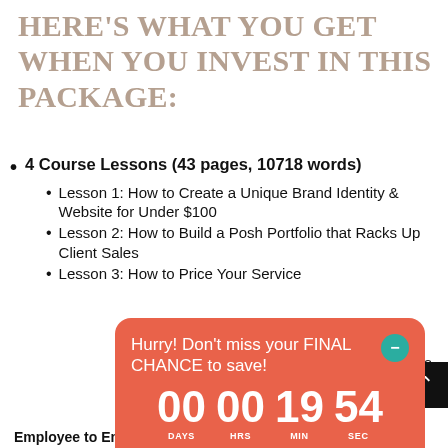HERE’S WHAT YOU GET WHEN YOU INVEST IN THIS PACKAGE:
4 Course Lessons (43 pages, 10718 words)
Lesson 1: How to Create a Unique Brand Identity & Website for Under $100
Lesson 2: How to Build a Posh Portfolio that Racks Up Client Sales
Lesson 3: How to Price Your Service
[Figure (infographic): Countdown timer popup with coral/salmon background. Text: Hurry! Don't miss your FINAL CHANCE to save! Timer showing 00 DAYS, 00 HRS, 19 MIN, 54 SEC. Teal circular close button with minus sign. Teal GET IT NOW button at bottom.]
ises, 88
Employee to Entrepreneur” (20 pages) that